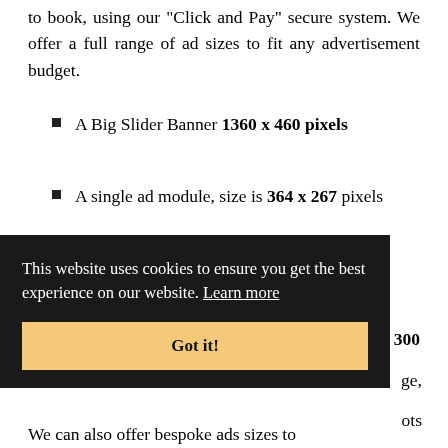to book, using our "Click and Pay" secure system. We offer a full range of ad sizes to fit any advertisement budget.
A Big Slider Banner 1360 x 460 pixels
A single ad module, size is 364 x 267 pixels
Double ad module, size is 756 x 267 pixels
Triple ad module, size is ...300 [partially visible]
[Figure (screenshot): Cookie consent banner overlay with dark background. Text reads: 'This website uses cookies to ensure you get the best experience on our website. Learn more' with a 'Got it!' button in yellow/gold.]
We can also offer bespoke ads sizes to